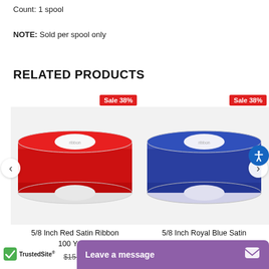Count: 1 spool
NOTE: Sold per spool only
RELATED PRODUCTS
[Figure (photo): Red satin ribbon spool product image with Sale 38% badge]
5/8 Inch Red Satin Ribbon 100 Yards
$15.99 (strikethrough price)
[Figure (photo): Royal blue satin ribbon spool product image with Sale 38% badge]
5/8 Inch Royal Blue Satin Ribbon 100 Yards
[Figure (logo): TrustedSite logo with green checkmark]
Leave a message